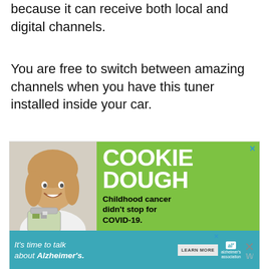because it can receive both local and digital channels.
You are free to switch between amazing channels when you have this tuner installed inside your car.
[Figure (infographic): Advertisement for Cookie Dough fundraiser: green background with large white bold text 'COOKIE DOUGH', subtext 'Childhood cancer didn't stop for COVID-19.' with photo of smiling girl holding a jar of money. Below is a teal banner ad reading 'It's time to talk about Alzheimer's.' with a Learn More button and the Alzheimer's Association logo.]